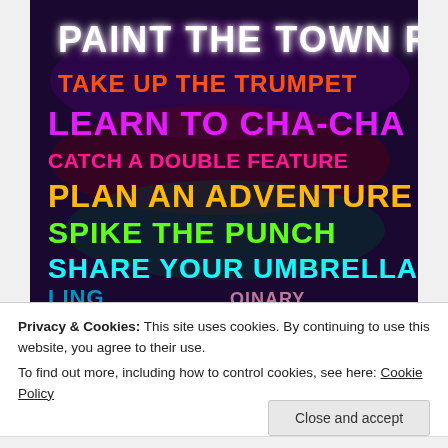[Figure (photo): A neon sign installation on a dark background displaying multiple colorful phrases in different colors: 'PAINT THE TOWN RED' (white), 'TAKE UP THE TRUMPET' (red/orange), 'LEARN TO CHA-CHA' (magenta/purple), 'CATCH A DOUBLE FEATURE' (pink), 'PLAN AN ADVENTURE' (orange/yellow), 'SPIKE THE PUNCH' (green), 'SHARE YOUR UMBRELLA' (cyan/teal), and partial text at the bottom.]
Privacy & Cookies: This site uses cookies. By continuing to use this website, you agree to their use.
To find out more, including how to control cookies, see here: Cookie Policy
Close and accept